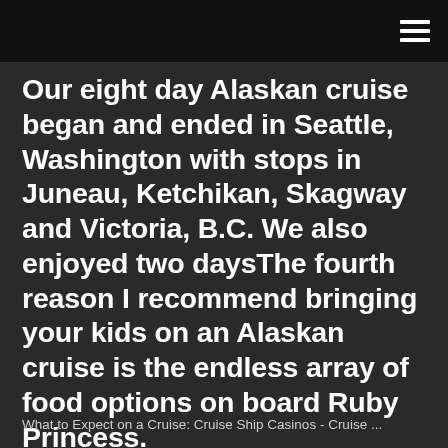Our eight day Alaskan cruise began and ended in Seattle, Washington with stops in Juneau, Ketchikan, Skagway and Victoria, B.C. We also enjoyed two daysThe fourth reason I recommend bringing your kids on an Alaskan cruise is the endless array of food options on board Ruby Princess.
What to Expect on a Cruise: Cruise Ship Casinos - Cruise ...